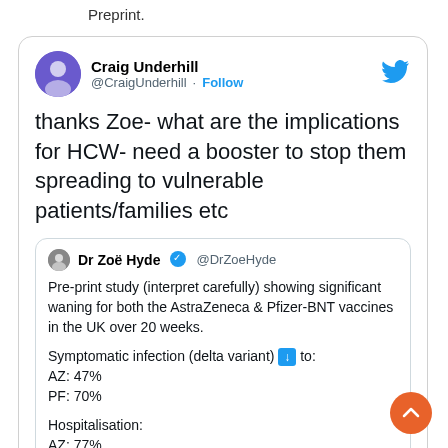Preprint.
[Figure (screenshot): Screenshot of a tweet by Craig Underhill (@CraigUnderhill) asking 'thanks Zoe- what are the implications for HCW- need a booster to stop them spreading to vulnerable patients/families etc', which quotes a tweet by Dr Zoë Hyde (@DrZoeHyde) describing a pre-print study showing significant waning of AstraZeneca & Pfizer-BNT vaccines in the UK over 20 weeks, with symptomatic infection (delta variant) dropping to AZ: 47%, PF: 70%, and hospitalisation to AZ: 77%, PF: 93%.]